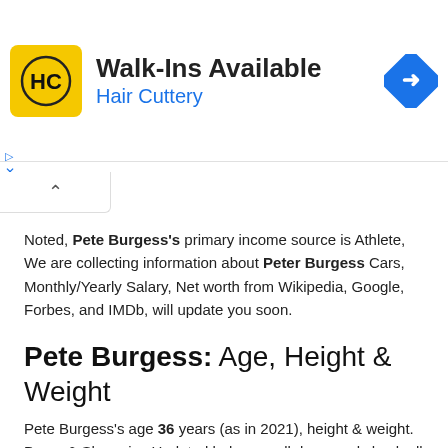[Figure (other): Hair Cuttery advertisement banner with yellow HC logo, text 'Walk-Ins Available' and 'Hair Cuttery' in blue, and a blue diamond-shaped navigation icon on the right]
Noted, Pete Burgess's primary income source is Athlete, We are collecting information about Peter Burgess Cars, Monthly/Yearly Salary, Net worth from Wikipedia, Google, Forbes, and IMDb, will update you soon.
Pete Burgess: Age, Height & Weight
Pete Burgess's age 36 years (as in 2021), height & weight. Dress & Shoe size Updated below scroll down and check all about height & weight. Dress & Shoe size.